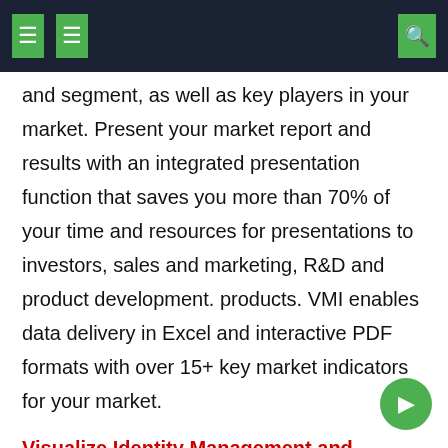navigation header with icons
and segment, as well as key players in your market. Present your market report and results with an integrated presentation function that saves you more than 70% of your time and resources for presentations to investors, sales and marketing, R&D and product development. products. VMI enables data delivery in Excel and interactive PDF formats with over 15+ key market indicators for your market.
Visualize Identity Management and Resolution Software Market Using VMI@ https://www.verifiedmarketresearch.com/vmintelligence/